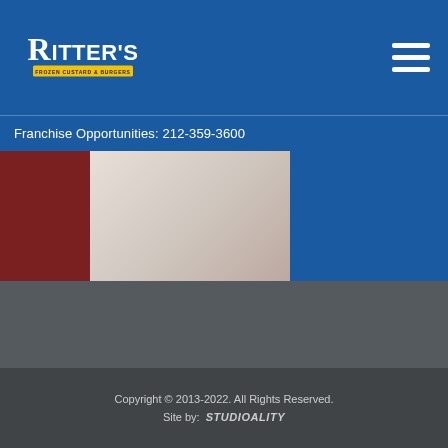Ritter's Frozen Custard & Burgers
Franchise Opportunities: 212-359-3600
[Figure (photo): Photo strip showing color panels — red, beige/white, and blue]
Franchise Opportunities
212-359-3600
Copyright © 2013-2022. All Rights Reserved. Site by: STUDIOALITY